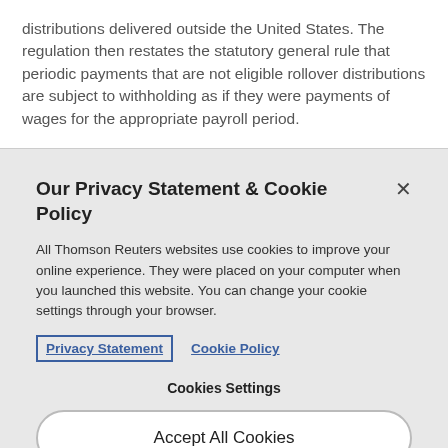distributions delivered outside the United States. The regulation then restates the statutory general rule that periodic payments that are not eligible rollover distributions are subject to withholding as if they were payments of wages for the appropriate payroll period.
Our Privacy Statement & Cookie Policy
All Thomson Reuters websites use cookies to improve your online experience. They were placed on your computer when you launched this website. You can change your cookie settings through your browser.
Privacy Statement   Cookie Policy
Cookies Settings
Accept All Cookies